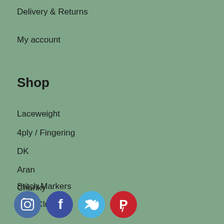Delivery & Returns
My account
Shop
Laceweight
4ply / Fingering
DK
Aran
Chunky
Stitch Markers
Yarn Clubs
[Figure (infographic): Social media icons row: Instagram (dark blue circle), Facebook (dark blue circle), Twitter (light blue circle), Pinterest (red circle)]